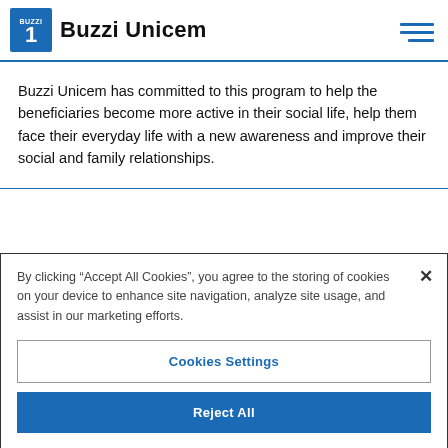Buzzi Unicem
Buzzi Unicem has committed to this program to help the beneficiaries become more active in their social life, help them face their everyday life with a new awareness and improve their social and family relationships.
By clicking “Accept All Cookies”, you agree to the storing of cookies on your device to enhance site navigation, analyze site usage, and assist in our marketing efforts.
Cookies Settings
Reject All